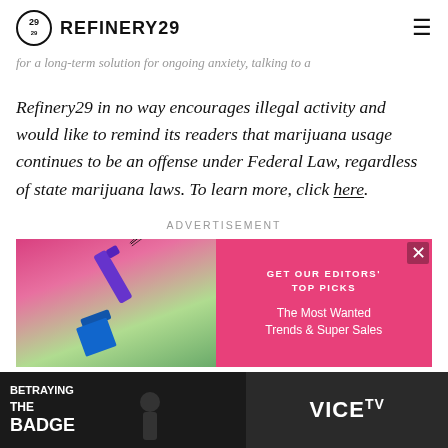REFINERY29
for a long-term solution for ongoing anxiety, talking to a
Refinery29 in no way encourages illegal activity and would like to remind its readers that marijuana usage continues to be an offense under Federal Law, regardless of state marijuana laws. To learn more, click here.
ADVERTISEMENT
[Figure (photo): Advertisement banner showing mascara product on pink/green background on the left, and pink panel on the right with text GET OUR EDITORS' TOP PICKS - The Most Wanted Trends & Super Sales]
[Figure (photo): Vice TV advertisement for 'Betraying the Badge' show, dark background with show title and VICE TV logo]